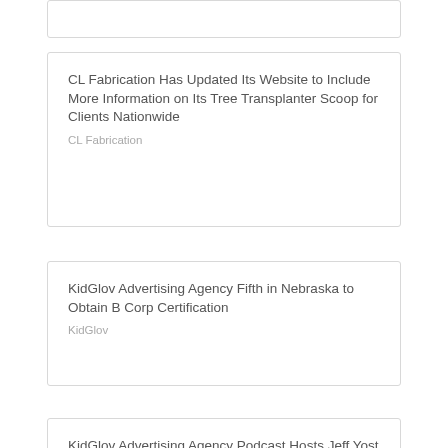CL Fabrication Has Updated Its Website to Include More Information on Its Tree Transplanter Scoop for Clients Nationwide
CL Fabrication
KidGlov Advertising Agency Fifth in Nebraska to Obtain B Corp Certification
KidGlov
KidGlov Advertising Agency Podcast Hosts Jeff Yost of Nebraska Community Foundation
KidGlov